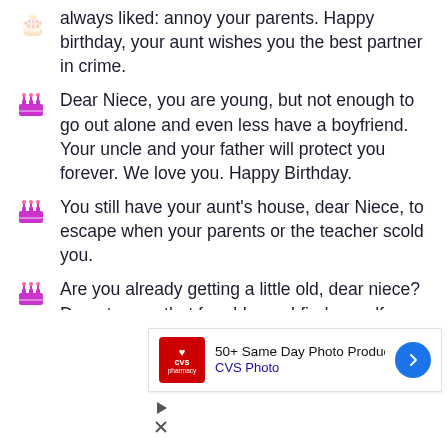always liked: annoy your parents. Happy birthday, your aunt wishes you the best partner in crime.
Dear Niece, you are young, but not enough to go out alone and even less have a boyfriend. Your uncle and your father will protect you forever. We love you. Happy Birthday.
You still have your aunt's house, dear Niece, to escape when your parents or the teacher scold you.
Are you already getting a little old, dear niece? Do not worry that for old age, I find myself, your uncle. I love you very much and have a beautiful birthday with all the
[Figure (screenshot): CVS Photo advertisement banner: 50+ Same Day Photo Products, CVS Photo, with CVS pharmacy logo, blue arrow button, and media controls]